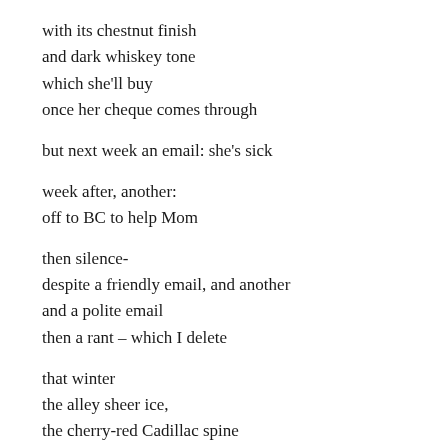with its chestnut finish
and dark whiskey tone
which she'll buy
once her cheque comes through

but next week an email: she's sick

week after, another:
off to BC to help Mom

then silence-
despite a friendly email, and another
and a polite email
then a rant – which I delete

that winter
the alley sheer ice,
the cherry-red Cadillac spine